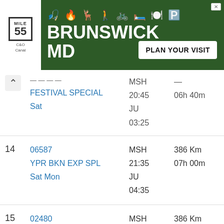[Figure (other): Advertisement banner for Brunswick MD (Mile 55, C&O Canal). Green background with white text and icons. Shows 'BRUNSWICK MD' in large white text, amenity icons, and a 'PLAN YOUR VISIT' button.]
| # | Train | Departure | Distance/Duration |
| --- | --- | --- | --- |
|  | FESTIVAL SPECIAL
Sat | MSH
20:45
JU
03:25 | 06h 40m |
| 14 | 06587
YPR BKN EXP SPL
Sat Mon | MSH
21:35
JU
04:35 | 386 Km
07h 00m |
| 15 | 02480
BDTS JU SF SPL
Daily | MSH
22:09
JU
05:05 | 386 Km
06h 56m |
| 16 | 02474
BDTS BKN SF SPL
Tue | MSH
22:55
JU | 386 Km
06h 35m |